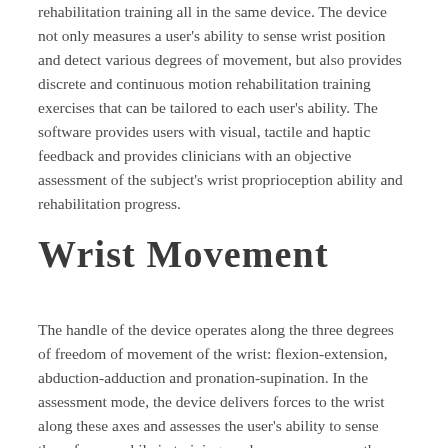rehabilitation training all in the same device. The device not only measures a user's ability to sense wrist position and detect various degrees of movement, but also provides discrete and continuous motion rehabilitation training exercises that can be tailored to each user's ability. The software provides users with visual, tactile and haptic feedback and provides clinicians with an objective assessment of the subject's wrist proprioception ability and rehabilitation progress.
Wrist Movement
The handle of the device operates along the three degrees of freedom of movement of the wrist: flexion-extension, abduction-adduction and pronation-supination. In the assessment mode, the device delivers forces to the wrist along these axes and assesses the user's ability to sense these forces, while in training mode users can move the unit themselves along the same three axes to perform various tasks